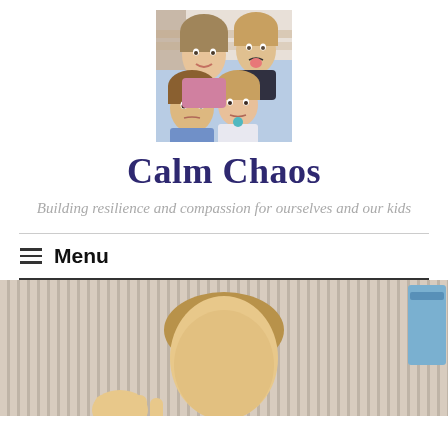[Figure (photo): Family photo showing a mother and three children — two boys and a girl — smiling and making faces at the camera outdoors]
Calm Chaos
Building resilience and compassion for ourselves and our kids
Menu
[Figure (photo): Close-up photo of a young boy's head from above, in front of vertical wooden slat background, with a blue element in upper right]